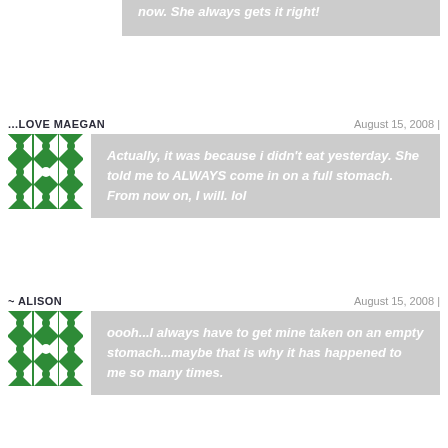now. She always gets it right!
...LOVE MAEGAN
August 15, 2008 |
[Figure (illustration): Green and white geometric flower/star pattern avatar for ...LOVE MAEGAN]
Actually, it was because i didn't eat yesterday. She told me to ALWAYS come in on a full stomach. From now on, I will. lol
~ ALISON
August 15, 2008 |
[Figure (illustration): Green and white geometric flower/star pattern avatar for ~ ALISON]
oooh...I always have to get mine taken on an empty stomach...maybe that is why it has happened to me so many times.